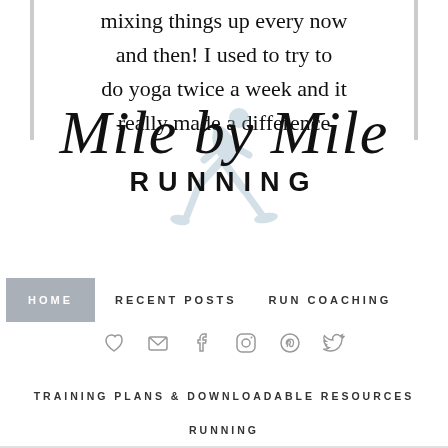mixing things up every now and then! I used to try to do yoga twice a week and it really made a difference
[Figure (logo): Mile by Mile Running blog logo with script text 'Mile by Mile' and block text 'RUNNING', overlaid with a faded blue/grey runner silhouette icon]
HOME   RECENT POSTS   RUN COACHING
[Figure (infographic): Row of social media icons: heart/bloglovin, email, facebook, instagram, pinterest, twitter]
TRAINING PLANS & DOWNLOADABLE RESOURCES
RUNNING